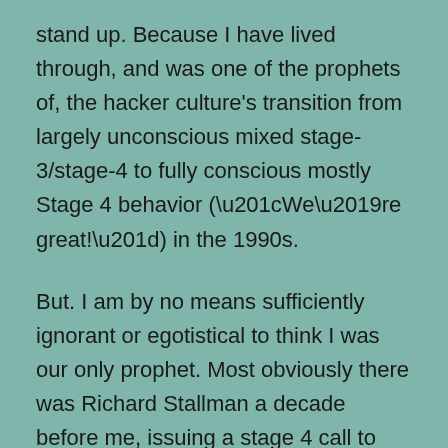stand up. Because I have lived through, and was one of the prophets of, the hacker culture's transition from largely unconscious mixed stage-3/stage-4 to fully conscious mostly Stage 4 behavior (“We’re great!”) in the 1990s.

But. I am by no means sufficiently ignorant or egotistical to think I was our only prophet. Most obviously there was Richard Stallman a decade before me, issuing a stage 4 call to higher values around “free software”. But because I was a historian before I was a prophet, I can’t really stop there. I find myself